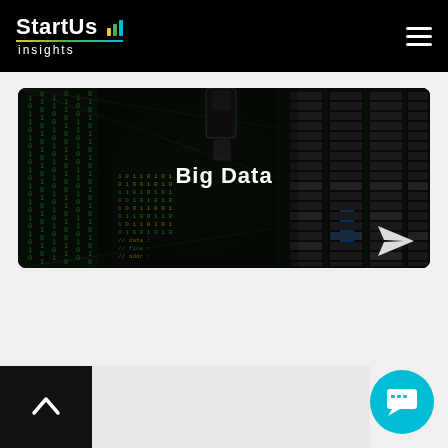StartUs Insights
[Figure (photo): Dark server room / data center with green matrix-style code overlay and 'Big Data' text in white, paper plane icon bottom right]
Big Data